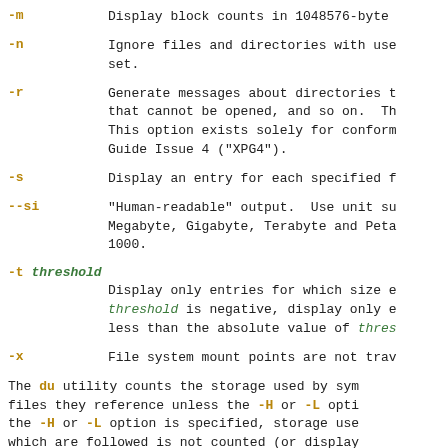-m   Display block counts in 1048576-byte
-n   Ignore files and directories with use set.
-r   Generate messages about directories t that cannot be opened, and so on. Th This option exists solely for conform Guide Issue 4 ("XPG4").
-s   Display an entry for each specified f
--si   "Human-readable" output.  Use unit su Megabyte, Gigabyte, Terabyte and Peta 1000.
-t threshold   Display only entries for which size e threshold is negative, display only e less than the absolute value of thres
-x   File system mount points are not trav
The du utility counts the storage used by sym files they reference unless the -H or -L opti the -H or -L option is specified, storage use which are followed is not counted (or display tions override each other and the command's a